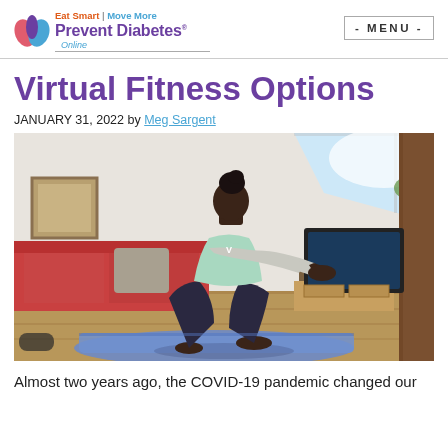Eat Smart | Move More Prevent Diabetes Online — MENU
Virtual Fitness Options
JANUARY 31, 2022 by Meg Sargent
[Figure (photo): A Black woman in fitness attire doing a squat exercise on a blue yoga mat in a living room, arms extended forward, with a couch, TV stand, and skylight window in the background.]
Almost two years ago, the COVID-19 pandemic changed our